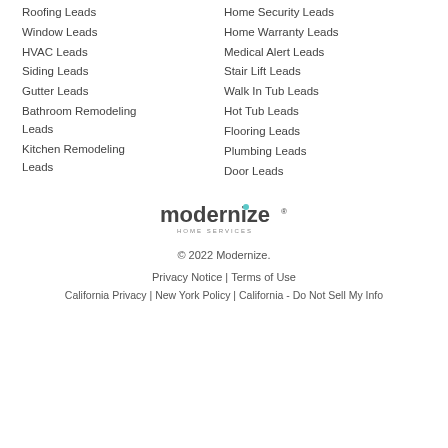Roofing Leads
Window Leads
HVAC Leads
Siding Leads
Gutter Leads
Bathroom Remodeling Leads
Kitchen Remodeling Leads
Home Security Leads
Home Warranty Leads
Medical Alert Leads
Stair Lift Leads
Walk In Tub Leads
Hot Tub Leads
Flooring Leads
Plumbing Leads
Door Leads
[Figure (logo): Modernize Home Services logo]
© 2022 Modernize.
Privacy Notice | Terms of Use
California Privacy | New York Policy | California – Do Not Sell My Info